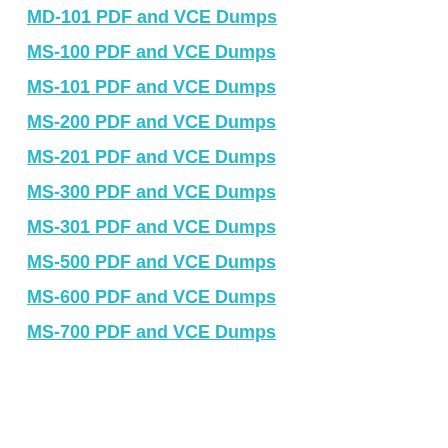MD-101 PDF and VCE Dumps
MS-100 PDF and VCE Dumps
MS-101 PDF and VCE Dumps
MS-200 PDF and VCE Dumps
MS-201 PDF and VCE Dumps
MS-300 PDF and VCE Dumps
MS-301 PDF and VCE Dumps
MS-500 PDF and VCE Dumps
MS-600 PDF and VCE Dumps
MS-700 PDF and VCE Dumps